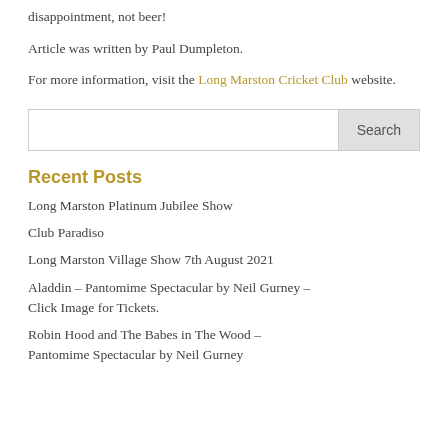disappointment, not beer!
Article was written by Paul Dumpleton.
For more information, visit the Long Marston Cricket Club website.
Recent Posts
Long Marston Platinum Jubilee Show
Club Paradiso
Long Marston Village Show 7th August 2021
Aladdin – Pantomime Spectacular by Neil Gurney – Click Image for Tickets.
Robin Hood and The Babes in The Wood – Pantomime Spectacular by Neil Gurney